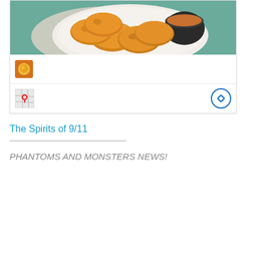[Figure (photo): Chicken nuggets on a white plate with dipping sauce, shown as a card with food icon and map icon]
The Spirits of 9/11
PHANTOMS AND MONSTERS NEWS!